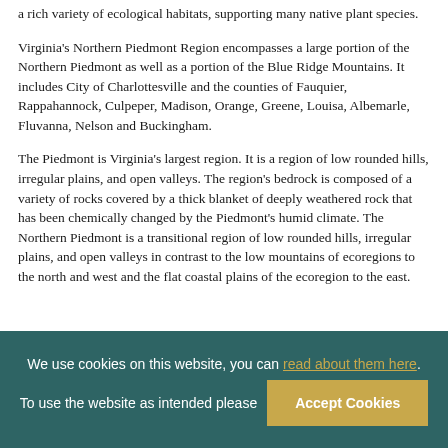a rich variety of ecological habitats, supporting many native plant species.
Virginia's Northern Piedmont Region encompasses a large portion of the Northern Piedmont as well as a portion of the Blue Ridge Mountains. It includes City of Charlottesville and the counties of Fauquier, Rappahannock, Culpeper, Madison, Orange, Greene, Louisa, Albemarle, Fluvanna, Nelson and Buckingham.
The Piedmont is Virginia's largest region. It is a region of low rounded hills, irregular plains, and open valleys. The region's bedrock is composed of a variety of rocks covered by a thick blanket of deeply weathered rock that has been chemically changed by the Piedmont's humid climate. The Northern Piedmont is a transitional region of low rounded hills, irregular plains, and open valleys in contrast to the low mountains of ecoregions to the north and west and the flat coastal plains of the ecoregion to the east.
We use cookies on this website, you can read about them here. To use the website as intended please [Accept Cookies]